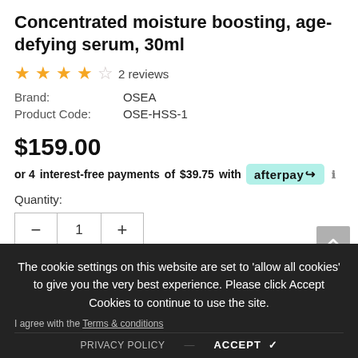Concentrated moisture boosting, age-defying serum, 30ml
★★★★☆ 2 reviews
Brand: OSEA
Product Code: OSE-HSS-1
$159.00
or 4 interest-free payments of $39.75 with afterpay
Quantity:
Subtotal: $159.00
The cookie settings on this website are set to 'allow all cookies' to give you the very best experience. Please click Accept Cookies to continue to use the site.
I agree with the Terms & conditions
PRIVACY POLICY    ACCEPT ✓